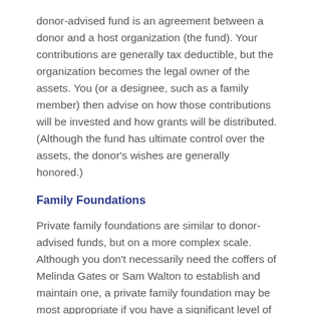donor-advised fund is an agreement between a donor and a host organization (the fund). Your contributions are generally tax deductible, but the organization becomes the legal owner of the assets. You (or a designee, such as a family member) then advise on how those contributions will be invested and how grants will be distributed. (Although the fund has ultimate control over the assets, the donor's wishes are generally honored.)
Family Foundations
Private family foundations are similar to donor-advised funds, but on a more complex scale. Although you don't necessarily need the coffers of Melinda Gates or Sam Walton to establish and maintain one, a private family foundation may be most appropriate if you have a significant level of wealth. The primary benefit (in addition to potential tax savings) is that you and your family have complete discretion over how the money is invested